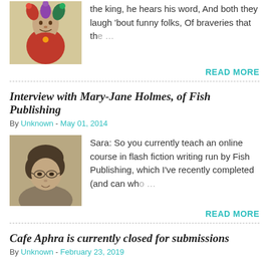[Figure (photo): Colorful jester/fool character illustration in red costume]
the king, he hears his word, And both they laugh 'bout funny folks, Of braveries that th…
READ MORE
Interview with Mary-Jane Holmes, of Fish Publishing
By Unknown - May 01, 2014
[Figure (photo): Sepia-toned portrait photo of a woman with short hair and glasses]
Sara: So you currently teach an online course in flash fiction writing run by Fish Publishing, which I've recently completed (and can who…
READ MORE
Cafe Aphra is currently closed for submissions
By Unknown - February 23, 2019